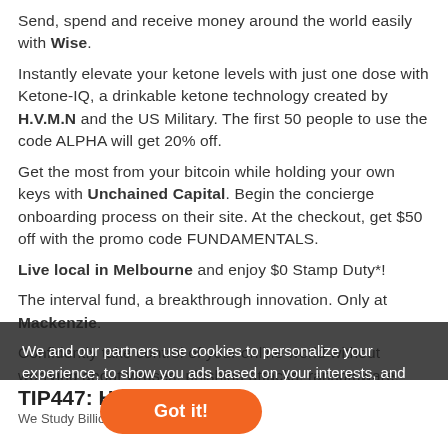Send, spend and receive money around the world easily with Wise.
Instantly elevate your ketone levels with just one dose with Ketone-IQ, a drinkable ketone technology created by H.V.M.N and the US Military. The first 50 people to use the code ALPHA will get 20% off.
Get the most from your bitcoin while holding your own keys with Unchained Capital. Begin the concierge onboarding process on their site. At the checkout, get $50 off with the promo code FUNDAMENTALS.
Live local in Melbourne and enjoy $0 Stamp Duty*!
The interval fund, a breakthrough innovation. Only at Mackenzie.
Confidently take control of your online world without worrying about viruses, phishing attacks, ransomware, hacking attempts, and other cybercrimes with Avast One.
Balancing opportunity and risk? The golden answer can be literally gold! Start your investment journey today with Perth
We and our partners use cookies to personalize your experience, to show you ads based on your interests, and for measurement and analytics purposes. By using our website and our services,
TIP447: How to Bu...
We Study Billionaires - The I...